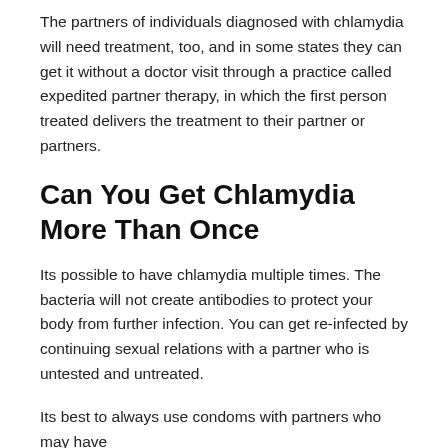The partners of individuals diagnosed with chlamydia will need treatment, too, and in some states they can get it without a doctor visit through a practice called expedited partner therapy, in which the first person treated delivers the treatment to their partner or partners.
Can You Get Chlamydia More Than Once
Its possible to have chlamydia multiple times. The bacteria will not create antibodies to protect your body from further infection. You can get re-infected by continuing sexual relations with a partner who is untested and untreated.
Its best to always use condoms with partners who may have